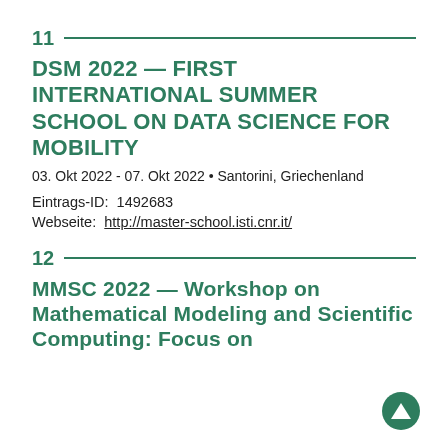11
DSM 2022 — FIRST INTERNATIONAL SUMMER SCHOOL ON DATA SCIENCE FOR MOBILITY
03. Okt 2022 - 07. Okt 2022 • Santorini, Griechenland
Eintrags-ID:  1492683
Webseite:  http://master-school.isti.cnr.it/
12
MMSC 2022 — Workshop on Mathematical Modeling and Scientific Computing: Focus on